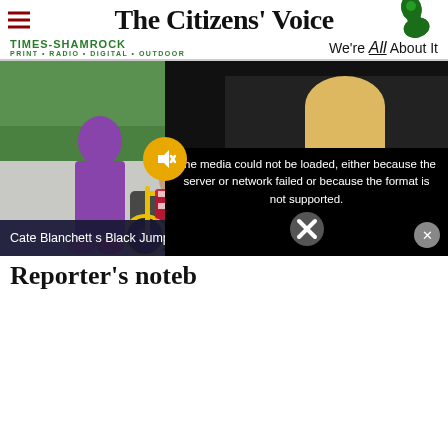The Citizens' Voice
TIMES-SHAMROCK PRINT • RADIO • DIGITAL • OUTDOOR   We're All About It
[Figure (photo): Person in wheelchair wrapped in American flag being assisted by another person outdoors, with a car visible in the background on a rainy day]
[Figure (screenshot): Video popup overlay: 'Cate Blanchett s Black Jumpsuit Was Lite...' with close button, mute button, and thumbnail of a blonde woman holding flowers]
Reporter's noteb
The media could not be loaded, either because the server or network failed or because the format is not supported.